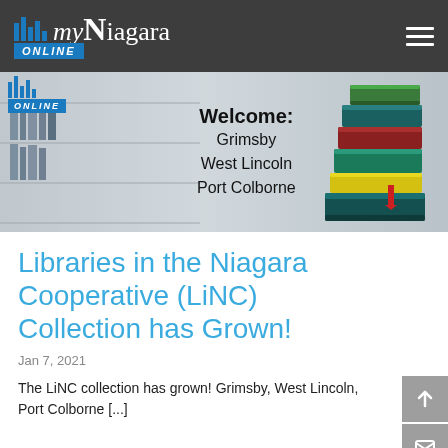myNiagara ONLINE
[Figure (photo): Library welcome banner showing stacked colorful books illustration with text: Welcome: Grimsby, West Lincoln, Port Colborne, Welland]
Libraries in the Niagara Cooperative (LiNC) Collection has Grown!
Jan 7, 2021
The LiNC collection has grown! Grimsby, West Lincoln, Port Colborne [...]